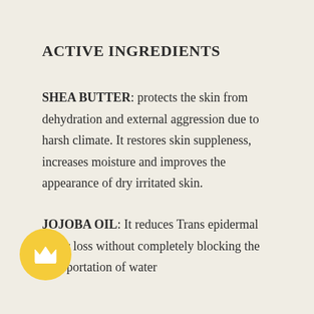ACTIVE INGREDIENTS
SHEA BUTTER: protects the skin from dehydration and external aggression due to harsh climate. It restores skin suppleness, increases moisture and improves the appearance of dry irritated skin.
JOJOBA OIL: It reduces Trans epidermal water loss without completely blocking the transportation of water
[Figure (illustration): Yellow circle with a white crown icon inside]